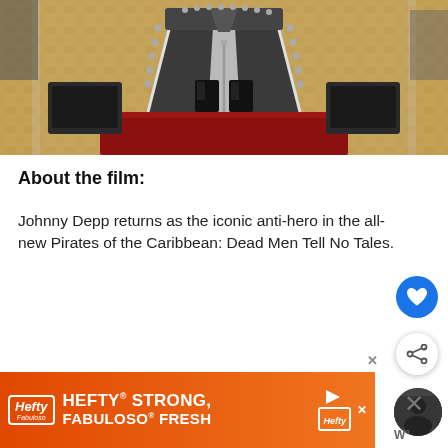[Figure (photo): Photo of a Pirates of the Caribbean movie costume on display in a glass case, showing a dark coat/cloak with white trim and black boots on a red floor platform, with gold patterned carpet background]
About the film:
Johnny Depp returns as the iconic anti-hero in the all-new Pirates of the Caribbean: Dead Men Tell No Tales.
[Figure (screenshot): Hefty advertisement banner: HEFTY STRONG, FABULOSO FRESH on orange background]